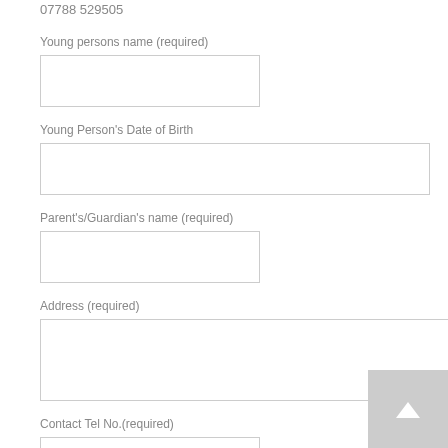07788 529505
Young persons name (required)
Young Person's Date of Birth
Parent's/Guardian's name (required)
Address (required)
Contact Tel No.(required)